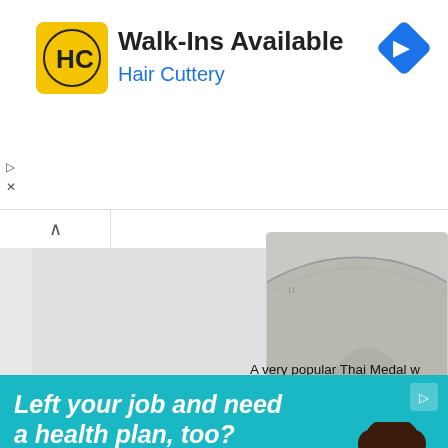[Figure (screenshot): Advertisement banner for Hair Cuttery: yellow square logo with HC, Walk-Ins Available text, Hair Cuttery subtitle in blue, blue diamond navigation icon on right, with play and close controls below left]
[Figure (photo): Close-up of a Thai silver medal/coin showing a portrait on an aged silver surface, partially cropped at right edge]
A very popular Thai Medal w... US$10,000, and the buyer h... was produced in CS 1246 (1...
[Figure (screenshot): Advertisement banner with teal background: Left your job and need a health plan, too? HealthCare.gov, with photo of a young person with curly hair at bottom right]